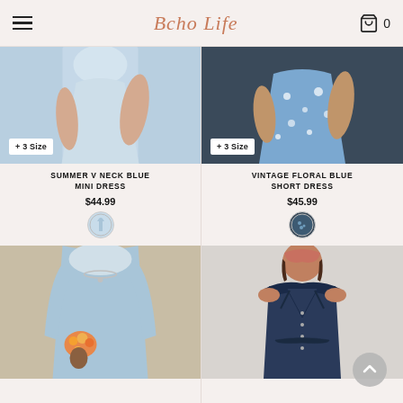Boho Life — navigation header with hamburger menu and cart icon showing 0 items
[Figure (photo): Light blue mini dress on model, + 3 Size badge]
[Figure (photo): Vintage floral blue short dress on model, + 3 Size badge]
SUMMER V NECK BLUE MINI DRESS
$44.99
[Figure (photo): Small circular swatch of light blue V-neck dress]
VINTAGE FLORAL BLUE SHORT DRESS
$45.99
[Figure (photo): Small circular swatch of floral blue short dress]
[Figure (photo): Light blue long sleeve dress on model holding flowers]
[Figure (photo): Dark navy off-shoulder denim dress on model with headscarf]